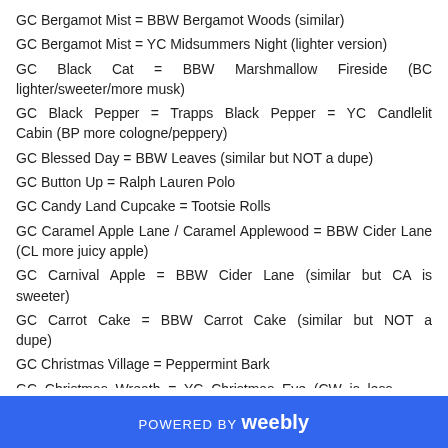GC Bergamot Mist = BBW Bergamot Woods (similar)
GC Bergamot Mist = YC Midsummers Night (lighter version)
GC Black Cat = BBW Marshmallow Fireside (BC lighter/sweeter/more musk)
GC Black Pepper = Trapps Black Pepper = YC Candlelit Cabin (BP more cologne/peppery)
GC Blessed Day = BBW Leaves (similar but NOT a dupe)
GC Button Up = Ralph Lauren Polo
GC Candy Land Cupcake = Tootsie Rolls
GC Caramel Apple Lane / Caramel Applewood = BBW Cider Lane (CL more juicy apple)
GC Carnival Apple = BBW Cider Lane (similar but CA is sweeter)
GC Carrot Cake = BBW Carrot Cake (similar but NOT a dupe)
GC Christmas Village = Peppermint Bark
GC Christmas Wreath = YC Christmas Eve (CW is less
POWERED BY weebly